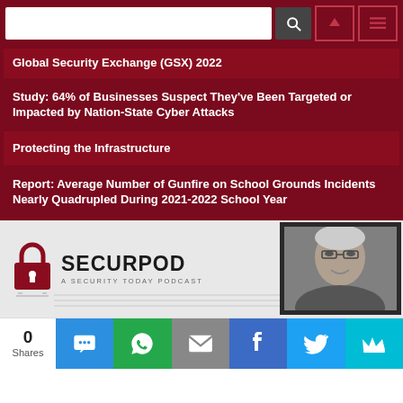Security Today website header with search bar and navigation icons
Global Security Exchange (GSX) 2022
Study: 64% of Businesses Suspect They've Been Targeted or Impacted by Nation-State Cyber Attacks
Protecting the Infrastructure
Report: Average Number of Gunfire on School Grounds Incidents Nearly Quadrupled During 2021-2022 School Year
[Figure (logo): SecurPod - A Security Today Podcast logo with padlock microphone icon and host photo]
0 Shares — social share icons: SMS, WhatsApp, Email, Facebook, Twitter, Crown